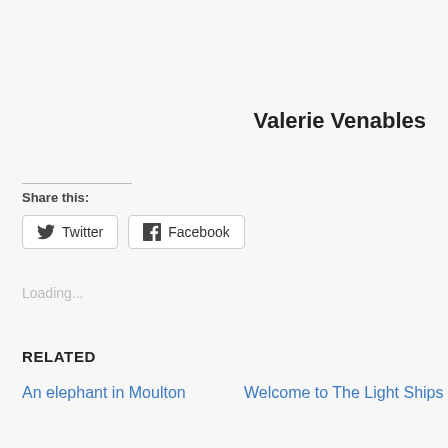Valerie Venables
Share this:
Twitter
Facebook
Loading...
RELATED
An elephant in Moulton
Welcome to The Light Ships